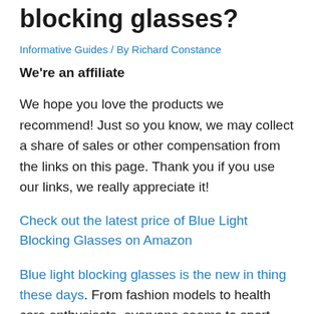When to wear blue light blocking glasses?
Informative Guides / By Richard Constance
We're an affiliate
We hope you love the products we recommend! Just so you know, we may collect a share of sales or other compensation from the links on this page. Thank you if you use our links, we really appreciate it!
Check out the latest price of Blue Light Blocking Glasses on Amazon
Blue light blocking glasses is the new in thing these days. From fashion models to health care enthusiasts, everyone seems to sport these glasses nowadays.